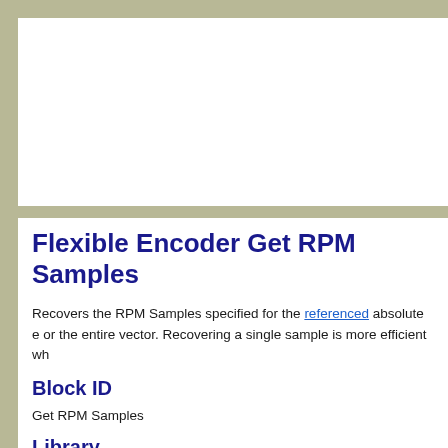Flexible Encoder Get RPM Samples
Recovers the RPM Samples specified for the referenced absolute encoder, or the entire vector. Recovering a single sample is more efficient wh...
Block ID
Get RPM Samples
Library
motohawk_flexenc_lib
Description